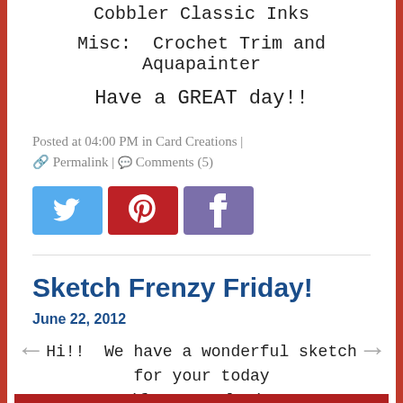Cobbler Classic Inks
Misc:  Crochet Trim and Aquapainter
Have a GREAT day!!
Posted at 04:00 PM in Card Creations | 🔗 Permalink | 💬 Comments (5)
[Figure (other): Social media sharing buttons: Twitter (blue), Pinterest (red), Facebook (purple)]
Sketch Frenzy Friday!
June 22, 2012
Hi!!  We have a wonderful sketch for your today (from Angela!):